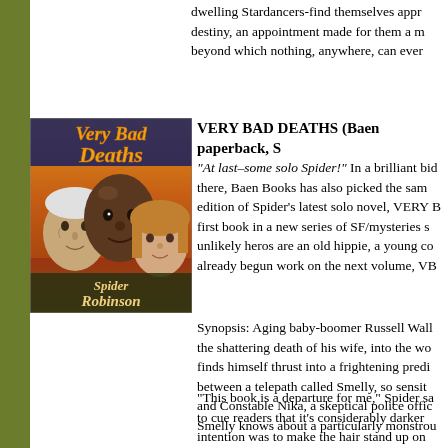dwelling Stardancers-find themselves appr destiny, an appointment made for them a m beyond which nothing, anywhere, can ever
[Figure (illustration): Book cover for 'Very Bad Deaths' by Spider Robinson showing three faces (two older men and a young woman) against a fiery orange background with the title in orange/yellow stylized text at the top.]
VERY BAD DEATHS (Baen paperback, S
"At last–some solo Spider!" In a brilliant bid there, Baen Books has also picked the sam edition of Spider's latest solo novel, VERY B first book in a new series of SF/mysteries s unlikely heros are an old hippie, a young co already begun work on the next volume, VB
Synopsis: Aging baby-boomer Russell Wall the shattering death of his wife, into the wo finds himself thrust into a frightening predi between a telepath called Smelly, so sensit and Constable Nika, a skeptical police offic Smelly knows about a particularly monstrou
"This book is a departure for me," Spider sa to cue readers that it's considerably darker intention was to make the hair stand up on first (well, maybe second) foray into Stephe enough sf and mystery content to liven up t (but never quite graphic) violence and star